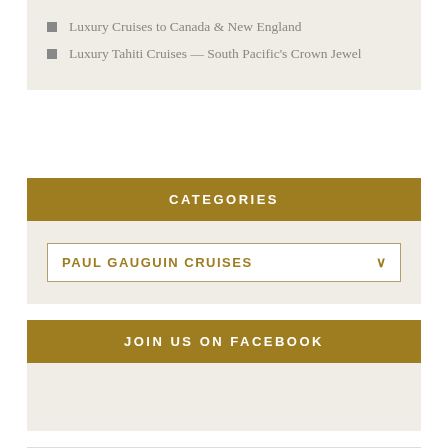Luxury Cruises to Canada & New England
Luxury Tahiti Cruises — South Pacific's Crown Jewel
CATEGORIES
PAUL GAUGUIN CRUISES
JOIN US ON FACEBOOK